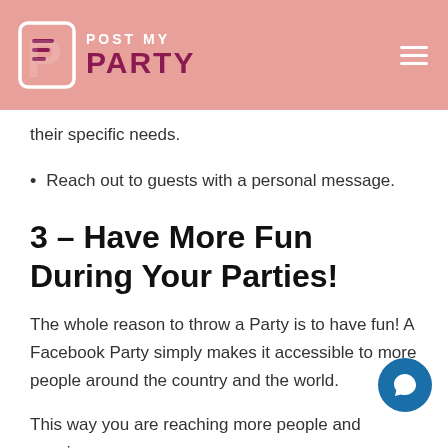POST MY PARTY
their specific needs.
Reach out to guests with a personal message.
3 – Have More Fun During Your Parties!
The whole reason to throw a Party is to have fun! A Facebook Party simply makes it accessible to more people around the country and the world.
This way you are reaching more people and growing a